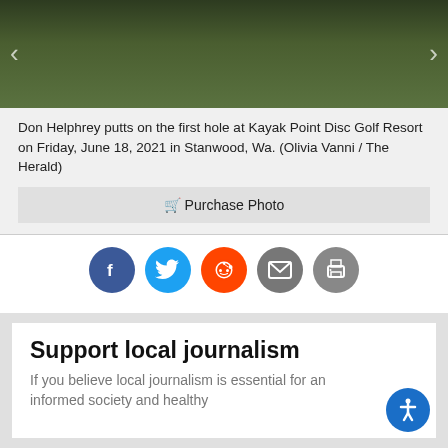[Figure (photo): Photo of a person putting on the first hole at Kayak Point Disc Golf Resort, grass background, with navigation arrows on left and right sides.]
Don Helphrey putts on the first hole at Kayak Point Disc Golf Resort on Friday, June 18, 2021 in Stanwood, Wa. (Olivia Vanni / The Herald)
🛒 Purchase Photo
[Figure (infographic): Row of social sharing icons: Facebook (blue), Twitter (light blue), Reddit (orange), Email (grey), Print (grey)]
Support local journalism
If you believe local journalism is essential for an informed society and healthy